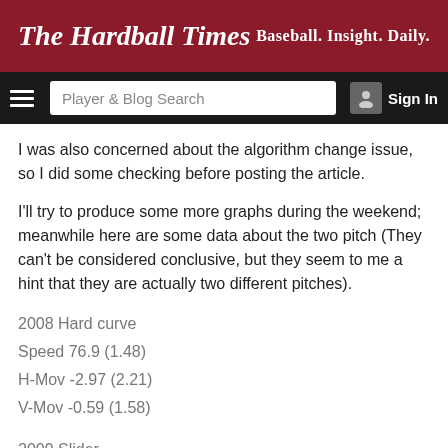The Hardball Times — Baseball. Insight. Daily.
I was also concerned about the algorithm change issue, so I did some checking before posting the article.
I'll try to produce some more graphs during the weekend; meanwhile here are some data about the two pitch (They can't be considered conclusive, but they seem to me a hint that they are actually two different pitches).
2008 Hard curve
Speed 76.9 (1.48)
H-Mov -2.97 (2.21)
V-Mov -0.59 (1.58)
2009 Slider